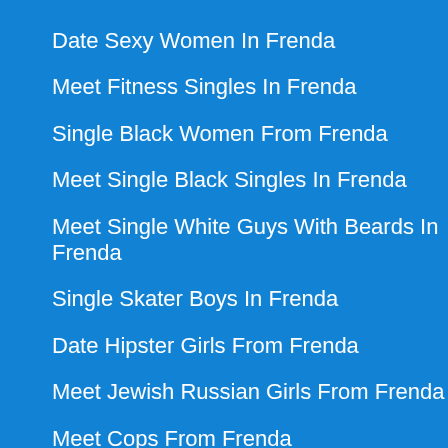Date Sexy Women In Frenda
Meet Fitness Singles In Frenda
Single Black Women From Frenda
Meet Single Black Singles In Frenda
Meet Single White Guys With Beards In Frenda
Single Skater Boys In Frenda
Date Hipster Girls From Frenda
Meet Jewish Russian Girls From Frenda
Meet Cops From Frenda
Meet Older Latina From Frenda